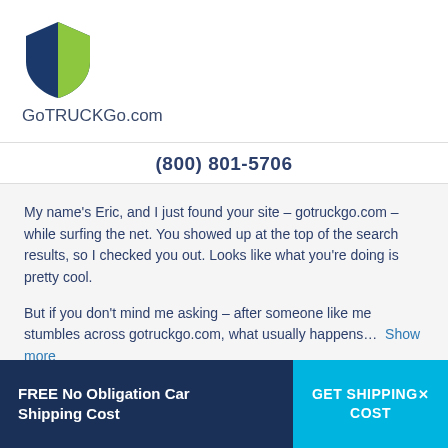[Figure (logo): GoTRUCKGo.com shield logo with blue and green halves]
GoTRUCKGo.com
(800) 801-5706
My name's Eric, and I just found your site – gotruckgo.com – while surfing the net. You showed up at the top of the search results, so I checked you out. Looks like what you're doing is pretty cool.
But if you don't mind me asking – after someone like me stumbles across gotruckgo.com, what usually happens…  Show more
—Eric Jones
FREE No Obligation Car Shipping Cost
GET SHIPPING X COST